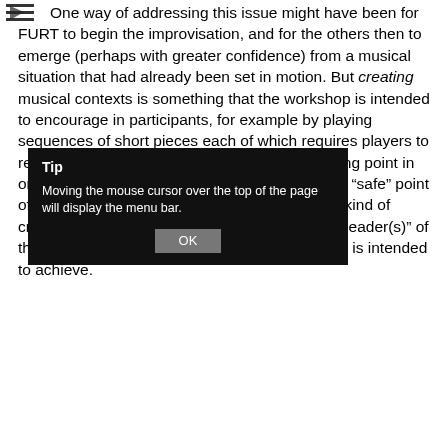One way of addressing this issue might have been for FURT to begin the improvisation, and for the others then to emerge (perhaps with greater confidence) from a musical situation that had already been set in motion. But creating musical contexts is something that the workshop is intended to encourage in participants, for example by playing sequences of short pieces each of which requires players to respond rapidly to a more or less arbitrary starting point in order to give it shape and character. Providing a "safe" point of departure would perhaps not encourage that kind of creativity, creating rather a dependency on the "leader(s)" of the workshop which goes against what the latter is intended to achieve.
[Figure (screenshot): A tooltip dialog overlay with black background. Title 'Tip' in bold, body text 'Moving the mouse cursor over the top of the page will display the menu bar.' and an OK button.]
The character of the following six-minute septet was crucially influenced by the presence of both pianos, and initially inhabits a mysterious world oscillating between pitch and noise which establishes a textural identity which is broadly preserved through the entire piece, although it does fall into more or less distinct sections, mostly initiated by a single player who becomes a temporary "solo" voice. For example, we hear a discreet but decisive entry of the accordion at around the two-minute mark, which interrupts the relatively